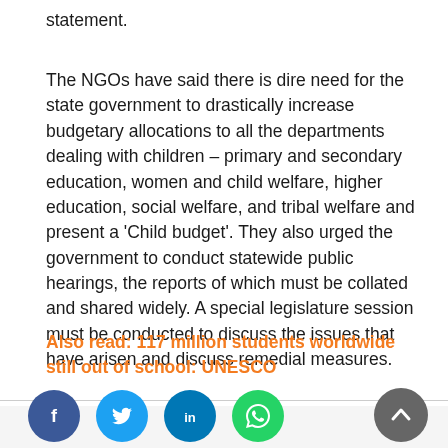statement.
The NGOs have said there is dire need for the state government to drastically increase budgetary allocations to all the departments dealing with children – primary and secondary education, women and child welfare, higher education, social welfare, and tribal welfare and present a 'Child budget'. They also urged the government to conduct statewide public hearings, the reports of which must be collated and shared widely. A special legislature session must be conducted to discuss the issues that have arisen and discuss remedial measures.
Also read: 117 million students worldwide still out of school: UNESCO
[Figure (other): Social media share icons: Facebook, Twitter, LinkedIn, WhatsApp, and a back-to-top button]